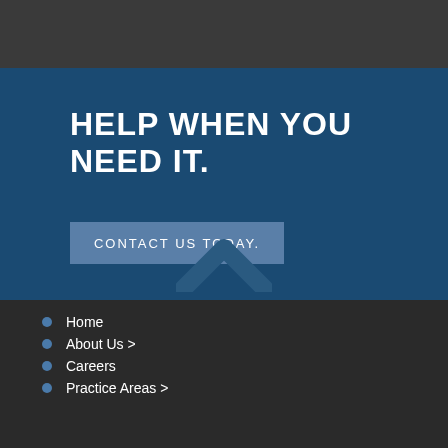HELP WHEN YOU NEED IT.
CONTACT US TODAY.
Home
About Us >
Careers
Practice Areas >